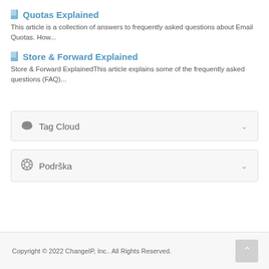Quotas Explained
This article is a collection of answers to frequently asked questions about Email Quotas. How...
Store & Forward Explained
Store & Forward ExplainedThis article explains some of the frequently asked questions (FAQ)...
Tag Cloud
Podrška
Copyright © 2022 ChangeIP, Inc.. All Rights Reserved.